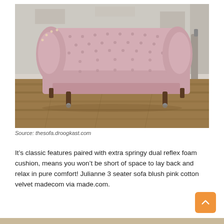[Figure (photo): A blush pink tufted Chesterfield-style sofa with rolled arms and dark wooden legs on castors, photographed in a rustic room with a distressed white brick wall and wooden plank flooring.]
Source: thesofa.droogkast.com
It&rsquo;s classic features paired with extra springy dual reflex foam cushion, means you won&rsquo;t be short of space to lay back and relax in pure comfort! Julianne 3 seater sofa blush pink cotton velvet madecom via made.com.